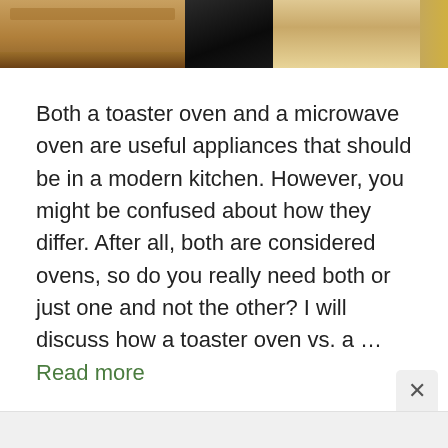[Figure (photo): Kitchen scene showing counter, cabinets and dark doorway in the background]
Both a toaster oven and a microwave oven are useful appliances that should be in a modern kitchen. However, you might be confused about how they differ. After all, both are considered ovens, so do you really need both or just one and not the other? I will discuss how a toaster oven vs. a … Read more